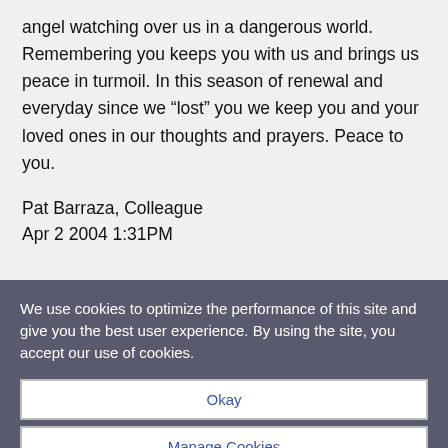angel watching over us in a dangerous world. Remembering you keeps you with us and brings us peace in turmoil. In this season of renewal and everyday since we “lost” you we keep you and your loved ones in our thoughts and prayers. Peace to you.
Pat Barraza, Colleague
Apr 2 2004 1:31PM
We use cookies to optimize the performance of this site and give you the best user experience. By using the site, you accept our use of cookies.
Okay
Manage Cookies